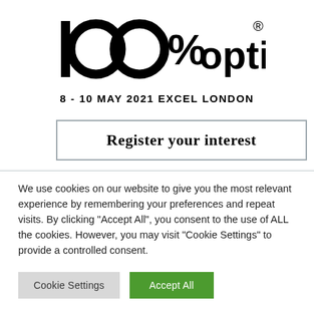[Figure (logo): 100%optical logo in black text with two large circles forming the '00' in 100%, percent sign, and the word 'optical' in bold, with a registered trademark symbol]
8 - 10 MAY 2021 EXCEL LONDON
Register your interest
We use cookies on our website to give you the most relevant experience by remembering your preferences and repeat visits. By clicking “Accept All”, you consent to the use of ALL the cookies. However, you may visit "Cookie Settings" to provide a controlled consent.
Cookie Settings
Accept All